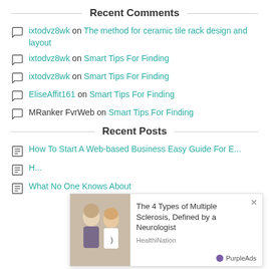Recent Comments
ixtodvz8wk on The method for ceramic tile rack design and layout
ixtodvz8wk on Smart Tips For Finding
ixtodvz8wk on Smart Tips For Finding
EliseAffit161 on Smart Tips For Finding
MRanker FvrWeb on Smart Tips For Finding
Recent Posts
How To Start A Web-based Business Easy Guide For E...
H...
What No One Knows About
[Figure (other): Advertisement overlay: The 4 Types of Multiple Sclerosis, Defined by a Neurologist — HealthiNation, PurpleAds. Shows image of doctor and patient.]